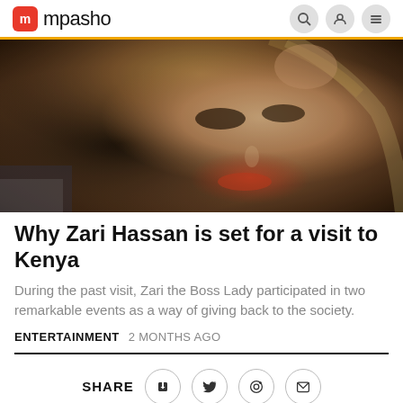mpasho
[Figure (photo): Close-up photo of Zari Hassan with glamorous makeup, wearing sparkly attire, hand raised near head with long nails.]
Why Zari Hassan is set for a visit to Kenya
During the past visit, Zari the Boss Lady participated in two remarkable events as a way of giving back to the society.
ENTERTAINMENT  2 MONTHS AGO
SHARE